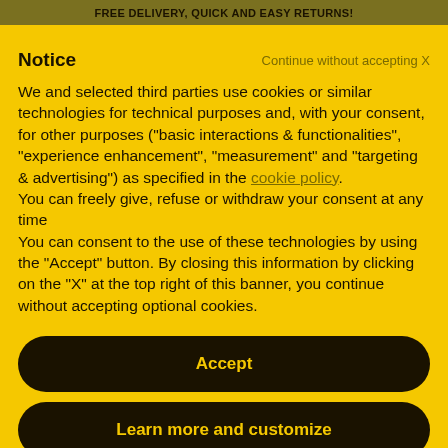FREE DELIVERY, QUICK AND EASY RETURNS!
Notice
Continue without accepting X
We and selected third parties use cookies or similar technologies for technical purposes and, with your consent, for other purposes ("basic interactions & functionalities", "experience enhancement", "measurement" and "targeting & advertising") as specified in the cookie policy.
You can freely give, refuse or withdraw your consent at any time
You can consent to the use of these technologies by using the "Accept" button. By closing this information by clicking on the "X" at the top right of this banner, you continue without accepting optional cookies.
Accept
Learn more and customize